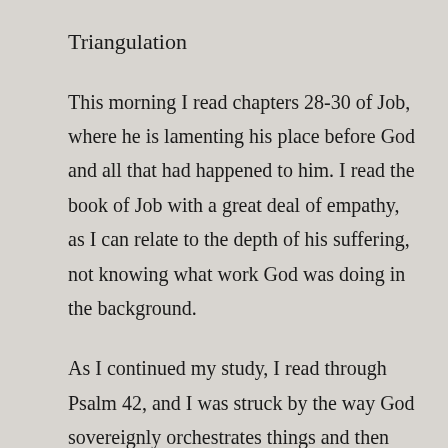Triangulation
This morning I read chapters 28-30 of Job, where he is lamenting his place before God and all that had happened to him. I read the book of Job with a great deal of empathy, as I can relate to the depth of his suffering, not knowing what work God was doing in the background.
As I continued my study, I read through Psalm 42, and I was struck by the way God sovereignly orchestrates things and then alerts one in the spirit, as if to say: “see this….” I had one of those moments this morning. Psalm 42 is an encapsulation of life through trial. the writer, one of the sons of Korah, must have been in a period of darkness. Perhaps he was a melancholic like